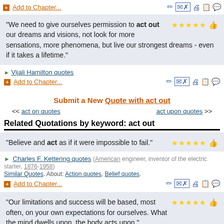+ Add to Chapter...
"We need to give ourselves permission to act out our dreams and visions, not look for more sensations, more phenomena, but live our strongest dreams - even if it takes a lifetime."
Vijali Hamilton quotes
+ Add to Chapter...
Submit a New Quote with act out
<< act on quotes    act upon quotes >>
Related Quotations by keyword: act out
"Believe and act as if it were impossible to fail."
Charles F. Kettering quotes (American engineer, inventor of the electric starter, 1876-1958)
Similar Quotes. About: Action quotes, Belief quotes.
+ Add to Chapter...
"Our limitations and success will be based, most often, on your own expectations for ourselves. What the mind dwells upon, the body acts upon."
Denis Waitley quotes (American motivational Speaker and